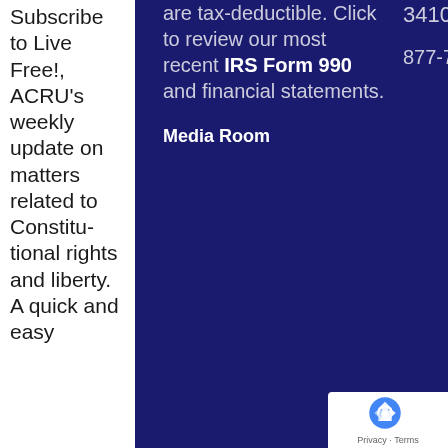Subscribe to Live Free!, ACRU's weekly update on matters related to Constitutional rights and liberty. A quick and easy
are tax-deductible. Click to review our most recent IRS Form 990 and financial statements.
Media Room
34103
877-730-ACRU (2278)
[Figure (other): reCAPTCHA badge with Privacy and Terms links]